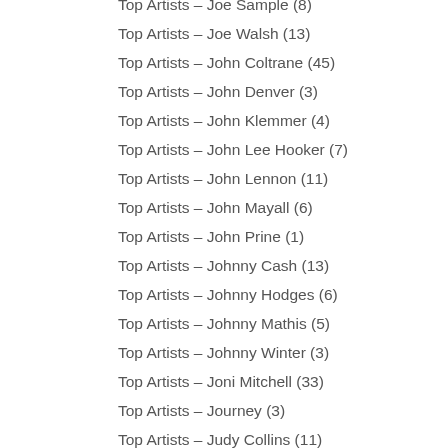Top Artists – Joe Sample (8)
Top Artists – Joe Walsh (13)
Top Artists – John Coltrane (45)
Top Artists – John Denver (3)
Top Artists – John Klemmer (4)
Top Artists – John Lee Hooker (7)
Top Artists – John Lennon (11)
Top Artists – John Mayall (6)
Top Artists – John Prine (1)
Top Artists – Johnny Cash (13)
Top Artists – Johnny Hodges (6)
Top Artists – Johnny Mathis (5)
Top Artists – Johnny Winter (3)
Top Artists – Joni Mitchell (33)
Top Artists – Journey (3)
Top Artists – Judy Collins (11)
Top Artists – Julie London (19)
Top Artists – June Christy (10)
Top Artists – Kansas (6)
Top Artists – KD Lang (1)